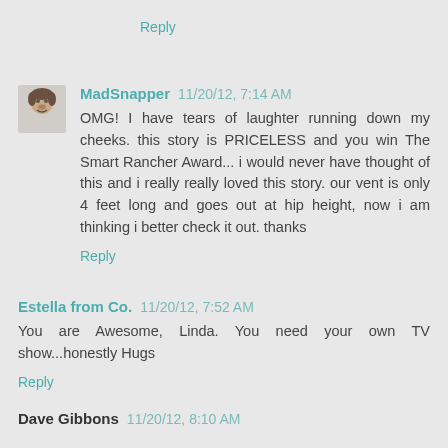Reply
MadSnapper 11/20/12, 7:14 AM
OMG! I have tears of laughter running down my cheeks. this story is PRICELESS and you win The Smart Rancher Award... i would never have thought of this and i really really loved this story. our vent is only 4 feet long and goes out at hip height, now i am thinking i better check it out. thanks
Reply
Estella from Co. 11/20/12, 7:52 AM
You are Awesome, Linda. You need your own TV show...honestly Hugs
Reply
Dave Gibbons 11/20/12, 8:10 AM